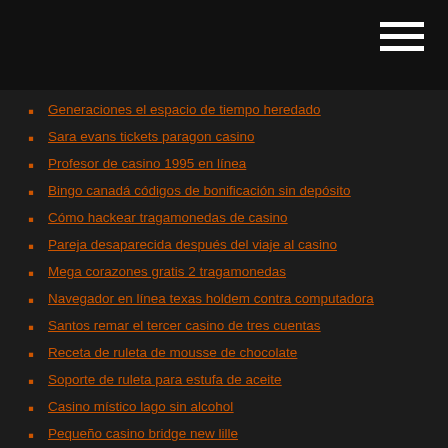Generaciones el espacio de tiempo heredado
Sara evans tickets paragon casino
Profesor de casino 1995 en línea
Bingo canadá códigos de bonificación sin depósito
Cómo hackear tragamonedas de casino
Pareja desaparecida después del viaje al casino
Mega corazones gratis 2 tragamonedas
Navegador en línea texas holdem contra computadora
Santos remar el tercer casino de tres cuentas
Receta de ruleta de mousse de chocolate
Soporte de ruleta para estufa de aceite
Casino místico lago sin alcohol
Pequeño casino bridge new lille